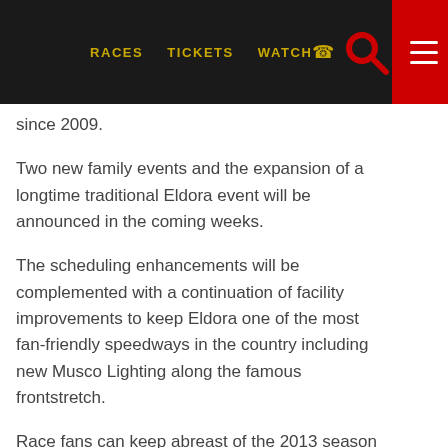RACES   TICKETS   WATCH
since 2009.
Two new family events and the expansion of a longtime traditional Eldora event will be announced in the coming weeks.
The scheduling enhancements will be complemented with a continuation of facility improvements to keep Eldora one of the most fan-friendly speedways in the country including new Musco Lighting along the famous frontstretch.
Race fans can keep abreast of the 2013 season in a multitude of ways including